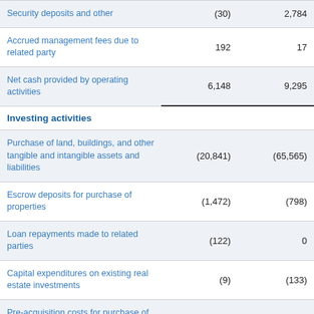|  |  |  |
| --- | --- | --- |
| Security deposits and other | (30) | 2,784 |
| Accrued management fees due to related party | 192 | 17 |
| Net cash provided by operating activities | 6,148 | 9,295 |
| Investing activities |  |  |
| Purchase of land, buildings, and other tangible and intangible assets and liabilities | (20,841) | (65,565) |
| Escrow deposits for purchase of properties | (1,472) | (798) |
| Loan repayments made to related parties | (122) | 0 |
| Capital expenditures on existing real estate investments | (9) | (133) |
| Pre-acquisition costs for purchase of properties | (211) | 246 |
| Net cash used in investing activities | (22,655) | (66,250) |